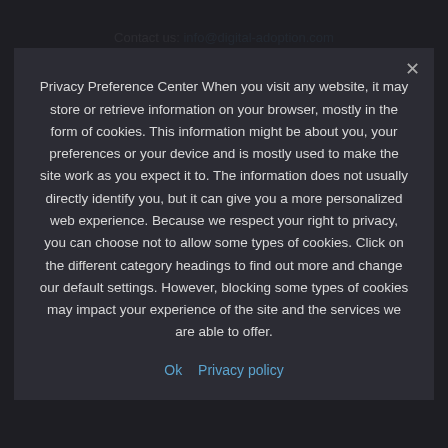Contact us: info@digital-adoption.com
POPULAR POSTS
[Figure (photo): Thumbnail image for popular post]
What Are the 4 Main Areas of Digital...
Privacy Preference Center When you visit any website, it may store or retrieve information on your browser, mostly in the form of cookies. This information might be about you, your preferences or your device and is mostly used to make the site work as you expect it to. The information does not usually directly identify you, but it can give you a more personalized web experience. Because we respect your right to privacy, you can choose not to allow some types of cookies. Click on the different category headings to find out more and change our default settings. However, blocking some types of cookies may impact your experience of the site and the services we are able to offer.
Ok   Privacy policy